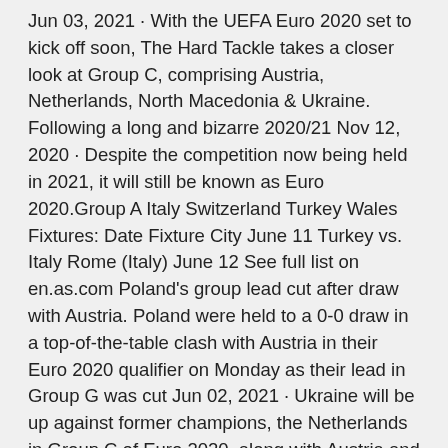Jun 03, 2021 · With the UEFA Euro 2020 set to kick off soon, The Hard Tackle takes a closer look at Group C, comprising Austria, Netherlands, North Macedonia & Ukraine. Following a long and bizarre 2020/21 Nov 12, 2020 · Despite the competition now being held in 2021, it will still be known as Euro 2020.Group A Italy Switzerland Turkey Wales Fixtures: Date Fixture City June 11 Turkey vs. Italy Rome (Italy) June 12 See full list on en.as.com Poland's group lead cut after draw with Austria. Poland were held to a 0-0 draw in a top-of-the-table clash with Austria in their Euro 2020 qualifier on Monday as their lead in Group G was cut Jun 02, 2021 · Ukraine will be up against former champions, the Netherlands in Group C of Euro 2020, along with Austria and North Macedonia. Here's team preview June 09, 2021 May 12, 2021 · The UEFA Euro 2020 is now just 30 days away and fans around the world are gearing up for